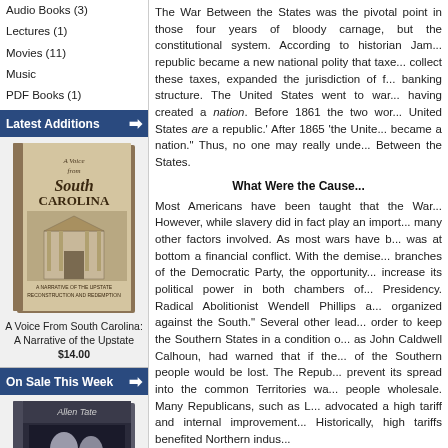Audio Books (3)
Lectures (1)
Movies (11)
Music
PDF Books (1)
Latest Additions
[Figure (photo): Book cover: A Voice From South Carolina]
A Voice From South Carolina: A Narrative of the Upstate
$14.00
On Sale This Week
[Figure (photo): Book cover: Jefferson Davis by Allen Tate]
The War Between the States was the pivotal point in those four years of bloody carnage, but the constitutional system. According to historian Jam... republic became a new national polity that taxe... collect these taxes, expanded the jurisdiction of f... banking structure. The United States went to war... having created a nation. Before 1861 the two wor... United States are a republic.' After 1865 'the Unite... became a nation." Thus, no one may really unde... Between the States.
What Were the Cause...
Most Americans have been taught that the War... However, while slavery did in fact play an import... many other factors involved. As most wars have b... was at bottom a financial conflict. With the demise... branches of the Democratic Party, the opportunity... increase its political power in both chambers of... Presidency. Radical Abolitionist Wendell Phillips a... organized against the South." Several other lead... order to keep the Southern States in a condition o... as John Caldwell Calhoun, had warned that if the... of the Southern people would be lost. The Repub... prevent its spread into the common Territories wa... people wholesale. Many Republicans, such as L... advocated a high tariff and internal improvement... Historically, high tariffs benefited Northern indus...